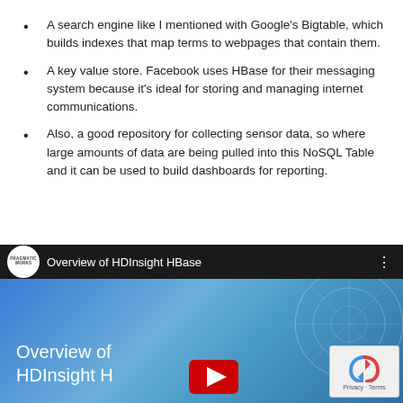A search engine like I mentioned with Google's Bigtable, which builds indexes that map terms to webpages that contain them.
A key value store. Facebook uses HBase for their messaging system because it's ideal for storing and managing internet communications.
Also, a good repository for collecting sensor data, so where large amounts of data are being pulled into this NoSQL Table and it can be used to build dashboards for reporting.
[Figure (screenshot): YouTube video embed showing 'Overview of HDInsight HBase' with Pragmatic Works logo in top bar, blue gradient background with circuit board design, YouTube play button overlay, and text 'Overview of HDInsight H' visible. A reCAPTCHA widget appears in bottom right corner.]